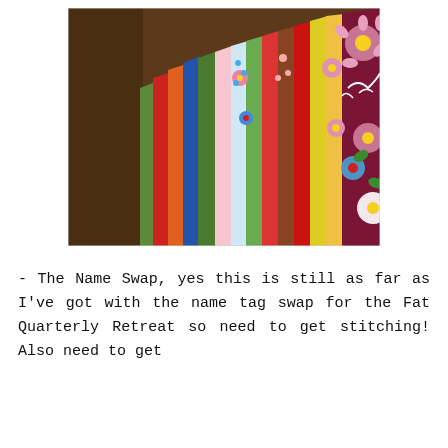[Figure (photo): A fan of colorful fabric fat quarters fanned out on a wooden surface. The fabrics include solid colors (red, orange, blue, green) and patterned fabrics with florals and prints. A large dark maroon/burgundy floral print fabric is prominently visible on the right side.]
- The Name Swap, yes this is still as far as I've got with the name tag swap for the Fat Quarterly Retreat so need to get stitching! Also need to get